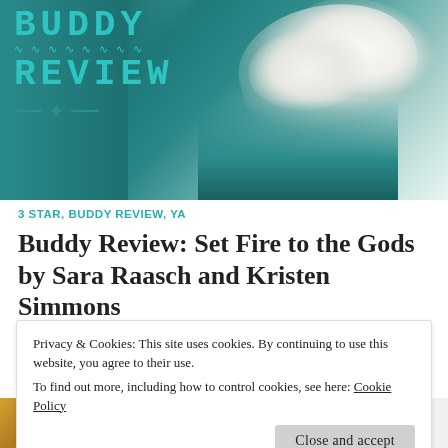[Figure (illustration): Blog header image with 'BUDDY REVIEW' text in teal monospace font with squiggly underline and decorative star, overlaid on a teal background with white magnolia/orchid flowers on the right side]
3 STAR, BUDDY REVIEW, YA
Buddy Review: Set Fire to the Gods by Sara Raasch and Kristen Simmons
February 24, 2021    Andge @ Down the Rabbit Hole
[Figure (photo): Partial book cover image at bottom left, and partial text visible at bottom right reading 'in an arena, she vows to']
Privacy & Cookies: This site uses cookies. By continuing to use this website, you agree to their use.
To find out more, including how to control cookies, see here: Cookie Policy
Close and accept